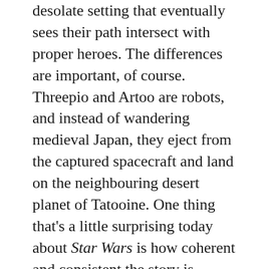desolate setting that eventually sees their path intersect with proper heroes. The differences are important, of course. Threepio and Artoo are robots, and instead of wandering medieval Japan, they eject from the captured spacecraft and land on the neighbouring desert planet of Tatooine. One thing that's a little surprising today about Star Wars is how coherent and consistent the story is, despite the outlandish conceptual conceits, and when the need for such a thing is often casually dismissed as an interest in such genre zones. The plot stakes are initially vague, but soon gain shape and urgency as it becomes apparent Leia used Artoo as a last-ditch vehicle to try and get the plans for